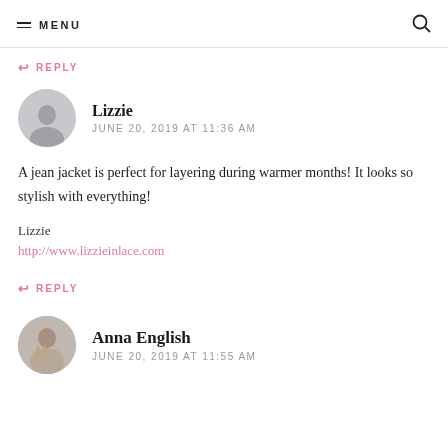MENU
↩ REPLY
Lizzie
JUNE 20, 2019 AT 11:36 AM
A jean jacket is perfect for layering during warmer months! It looks so stylish with everything!
Lizzie
http://www.lizzieinlace.com
↩ REPLY
Anna English
JUNE 20, 2019 AT 11:55 AM